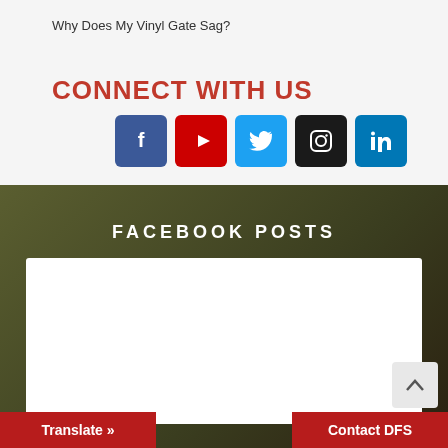Why Does My Vinyl Gate Sag?
CONNECT WITH US
[Figure (infographic): Row of five social media icon buttons: Facebook (blue), YouTube (red), Twitter (light blue), Instagram (dark/black), LinkedIn (blue)]
FACEBOOK POSTS
[Figure (screenshot): White embedded Facebook posts widget area]
Translate »
Contact DFS